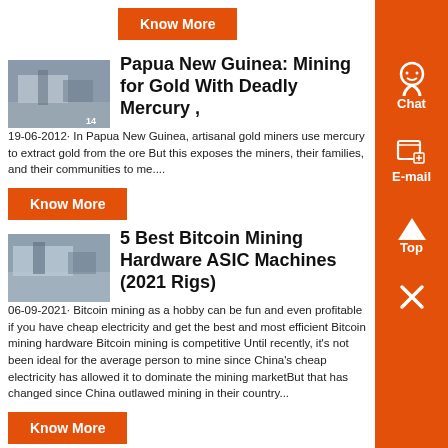[Figure (other): Orange Know More button at top]
[Figure (photo): Mining site thumbnail image]
Papua New Guinea: Mining for Gold With Deadly Mercury ,
19-06-2012· In Papua New Guinea, artisanal gold miners use mercury to extract gold from the ore But this exposes the miners, their families, and their communities to me....
[Figure (other): Orange Know More button]
[Figure (photo): Mining machinery thumbnail image]
5 Best Bitcoin Mining Hardware ASIC Machines (2021 Rigs)
06-09-2021· Bitcoin mining as a hobby can be fun and even profitable if you have cheap electricity and get the best and most efficient Bitcoin mining hardware Bitcoin mining is competitive Until recently, it's not been ideal for the average person to mine since China's cheap electricity has allowed it to dominate the mining marketBut that has changed since China outlawed mining in their country...
[Figure (other): Orange Know More button]
[Figure (photo): Mining equipment thumbnail image]
Amazon: bitcoin mining machine